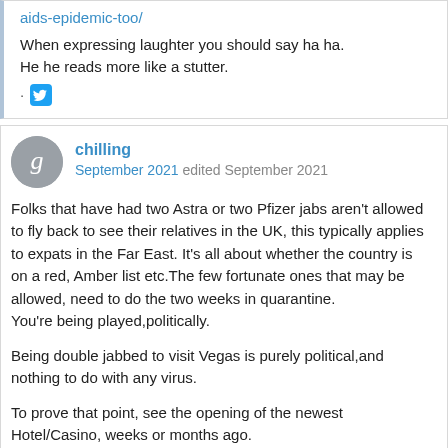aids-epidemic-too/
When expressing laughter you should say ha ha.
He he reads more like a stutter.
[Figure (logo): Twitter bird logo icon in blue square]
chilling
September 2021 edited September 2021
Folks that have had two Astra or two Pfizer jabs aren't allowed to fly back to see their relatives in the UK, this typically applies to expats in the Far East. It's all about whether the country is on a red, Amber list etc.The few fortunate ones that may be allowed, need to do the two weeks in quarantine.
You're being played,politically.

Being double jabbed to visit Vegas is purely political,and nothing to do with any virus.

To prove that point, see the opening of the newest Hotel/Casino, weeks or months ago.